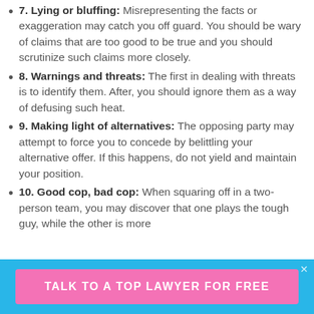7. Lying or bluffing: Misrepresenting the facts or exaggeration may catch you off guard. You should be wary of claims that are too good to be true and you should scrutinize such claims more closely.
8. Warnings and threats: The first in dealing with threats is to identify them. After, you should ignore them as a way of defusing such heat.
9. Making light of alternatives: The opposing party may attempt to force you to concede by belittling your alternative offer. If this happens, do not yield and maintain your position.
10. Good cop, bad cop: When squaring off in a two-person team, you may discover that one plays the tough guy, while the other is more
TALK TO A TOP LAWYER FOR FREE